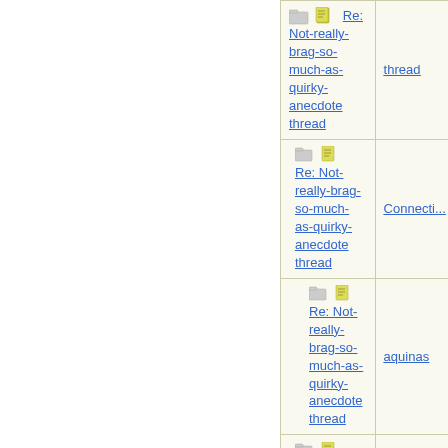| Subject | Author |
| --- | --- |
| Re: Not-really-brag-so-much-as-quirky-anecdote thread | thread |
| Re: Not-really-brag-so-much-as-quirky-anecdote thread | Connecti... |
| Re: Not-really-brag-so-much-as-quirky-anecdote thread | aquinas |
| Re: Not-really-brag-so-much-as-quirky-anecdote thread | Connecti... |
| Re: Not-really-brag-so-much-as-quirky-anecdote thread | aquinas |
| Re: Not-really-brag-so-much-as-quirky-anecdote thread | aeh |
| Re: Not-really-brag-so-much-as-quirky-anecdote thread | aquinas |
| Re: Not-really-brag-so-much-as-quirky-anecdote thread | ... |